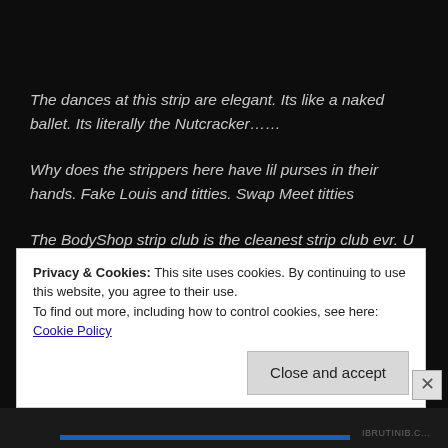The dances at this strip are elegant. Its like a naked ballet. Its literally the Nutcracker……
Why does the strippers here have lil purses in their hands. Fake Louis and titties. Swap Meet titties
The BodyShop strip club is the cleanest strip club evr. U can eat off da strippers. WHACK!
Privacy & Cookies: This site uses cookies. By continuing to use this website, you agree to their use. To find out more, including how to control cookies, see here: Cookie Policy